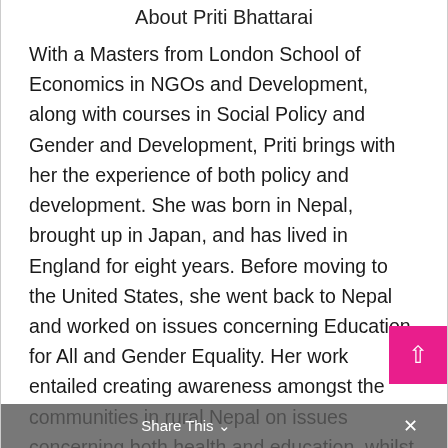About Priti Bhattarai
With a Masters from London School of Economics in NGOs and Development, along with courses in Social Policy and Gender and Development, Priti brings with her the experience of both policy and development. She was born in Nepal, brought up in Japan, and has lived in England for eight years. Before moving to the United States, she went back to Nepal and worked on issues concerning Education for All and Gender Equality. Her work entailed creating awareness amongst the communities in rural Nepal on issues concerning both health and education, whilst striving for change in the area of education policy.
Share This ˅  ×